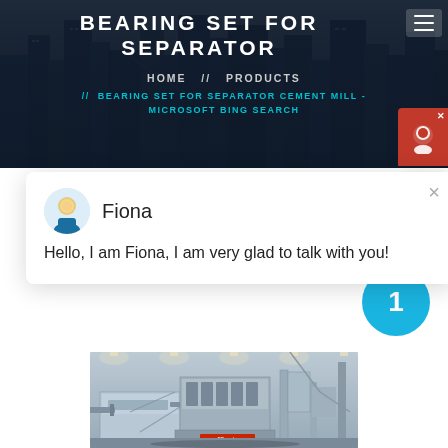BEARING SET FOR SEPARATOR
HOME // PRODUCTS // BEARING SET FOR SEPARATOR CEMENT MILL - MICROSOFT BING SEARCH
Hello, I am Fiona, I am very glad to talk with you!
[Figure (photo): Industrial separator/crusher machinery in a factory setting]
1